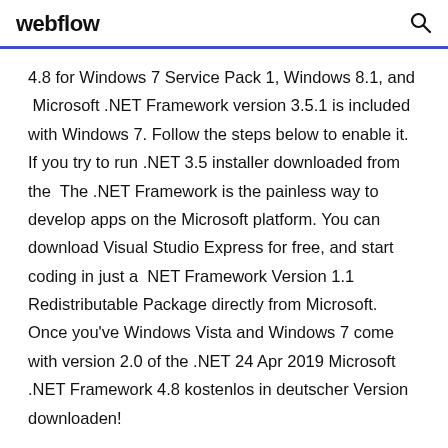webflow
4.8 for Windows 7 Service Pack 1, Windows 8.1, and  Microsoft .NET Framework version 3.5.1 is included with Windows 7. Follow the steps below to enable it. If you try to run .NET 3.5 installer downloaded from the  The .NET Framework is the painless way to develop apps on the Microsoft platform. You can download Visual Studio Express for free, and start coding in just a  NET Framework Version 1.1 Redistributable Package directly from Microsoft. Once you've Windows Vista and Windows 7 come with version 2.0 of the .NET 24 Apr 2019 Microsoft .NET Framework 4.8 kostenlos in deutscher Version downloaden! Weitere virengeprüfte Soft...